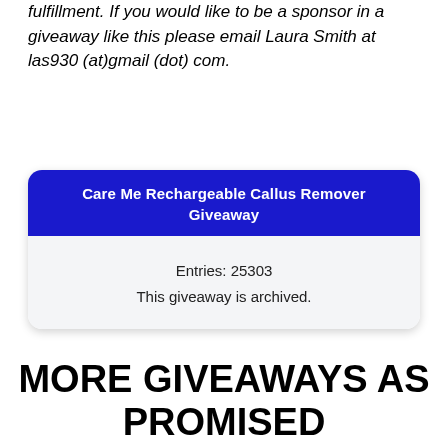fulfillment. If you would like to be a sponsor in a giveaway like this please email Laura Smith at las930 (at)gmail (dot) com.
Care Me Rechargeable Callus Remover Giveaway
Entries: 25303
This giveaway is archived.
MORE GIVEAWAYS AS PROMISED
Giveaways
[Figure (illustration): Thumbnail image for Winning M... Crocodile De... giveaway with red ribbon decoration]
[Figure (illustration): Thumbnail image for Winning M... Instant Insa... giveaway with red ribbon decoration]